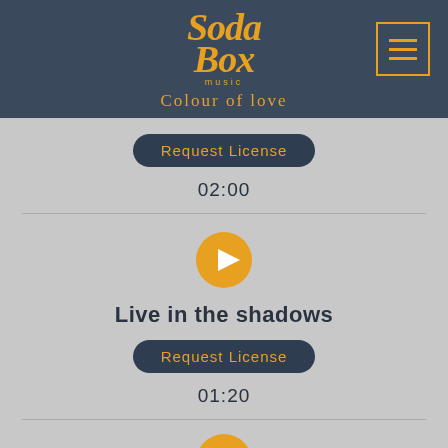Soda Box music - Colour of love
Request License
02:00
[Figure (illustration): Orange circular play button icon]
Live in the shadows
Request License
01:20
[Figure (illustration): Orange circular play button icon (partially visible at bottom)]